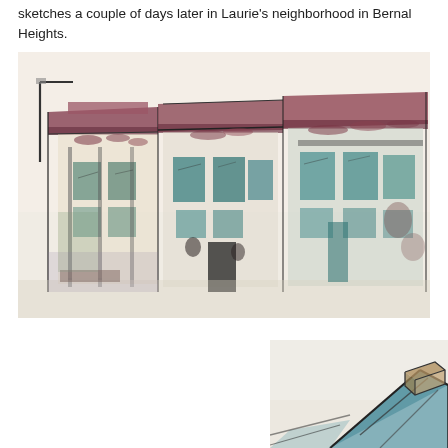sketches a couple of days later in Laurie's neighborhood in Bernal Heights.
[Figure (illustration): Watercolor and ink urban sketch of a row of buildings in Bernal Heights neighborhood, showing Victorian/Edwardian-style storefronts with decorative rooflines, rendered in loose brushwork with teal, rose/burgundy, cream, and dark ink lines.]
[Figure (illustration): Partial watercolor and ink sketch of a rooftop or building detail, showing angular geometric lines in teal/blue tones with brown accents, cropped at the bottom right of the page.]